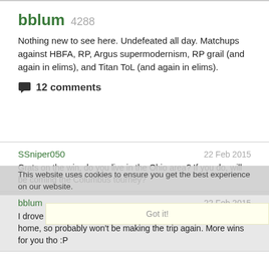bblum 4288
Nothing new to see here. Undefeated all day. Matchups against HBFA, RP, Argus supermodernism, RP grail (and again in elims), and Titan ToL (and again in elims).
💬 12 comments
SSniper050   22 Feb 2015
Grats on the win, do you live in the Ohio area? If you do, will be coming the Columbus tourney?
bblum   22 Feb 2015
I drove up from Pittsburgh. I got 3 more SCs a little closer to home, so probably won't be making the trip again. More wins for you tho :P
SSniper050   22 Feb 2015
Haha, that's true!